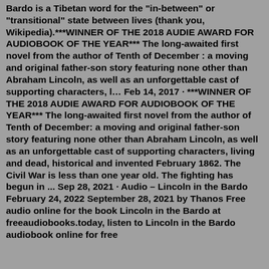Bardo is a Tibetan word for the "in-between" or "transitional" state between lives (thank you, Wikipedia).***WINNER OF THE 2018 AUDIE AWARD FOR AUDIOBOOK OF THE YEAR*** The long-awaited first novel from the author of Tenth of December : a moving and original father-son story featuring none other than Abraham Lincoln, as well as an unforgettable cast of supporting characters, l… Feb 14, 2017 · ***WINNER OF THE 2018 AUDIE AWARD FOR AUDIOBOOK OF THE YEAR*** The long-awaited first novel from the author of Tenth of December: a moving and original father-son story featuring none other than Abraham Lincoln, as well as an unforgettable cast of supporting characters, living and dead, historical and invented February 1862. The Civil War is less than one year old. The fighting has begun in ... Sep 28, 2021 · Audio – Lincoln in the Bardo February 24, 2022 September 28, 2021 by Thanos Free audio online for the book Lincoln in the Bardo at freeaudiobooks.today, listen to Lincoln in the Bardo audiobook online for free